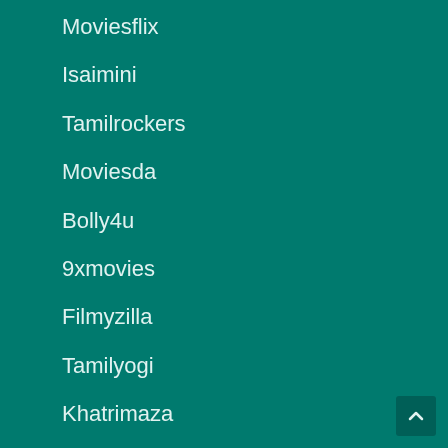Moviesflix
Isaimini
Tamilrockers
Moviesda
Bolly4u
9xmovies
Filmyzilla
Tamilyogi
Khatrimaza
Afilmywap
123movies
Pagalworld